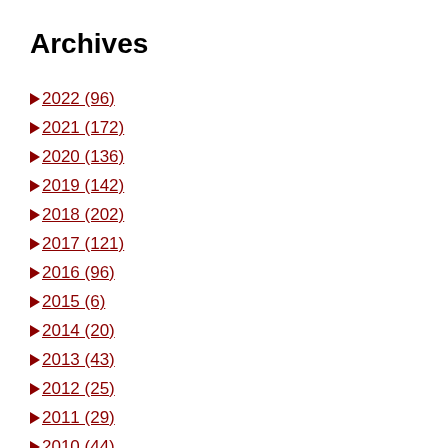Archives
► 2022 (96)
► 2021 (172)
► 2020 (136)
► 2019 (142)
► 2018 (202)
► 2017 (121)
► 2016 (96)
► 2015 (6)
► 2014 (20)
► 2013 (43)
► 2012 (25)
► 2011 (29)
► 2010 (44)
► 2009 (68)